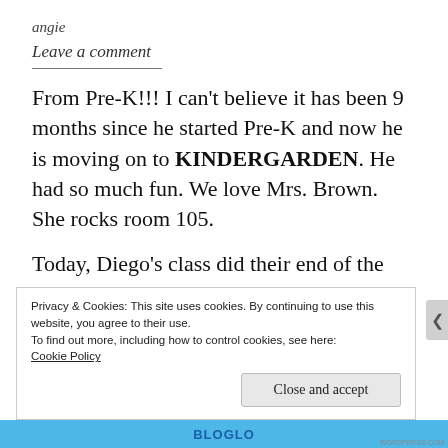angie
Leave a comment
From Pre-K!!! I can't believe it has been 9 months since he started Pre-K and now he is moving on to KINDERGARDEN. He had so much fun. We love Mrs. Brown. She rocks room 105.
Today, Diego's class did their end of the year
Privacy & Cookies: This site uses cookies. By continuing to use this website, you agree to their use.
To find out more, including how to control cookies, see here:
Cookie Policy
Close and accept